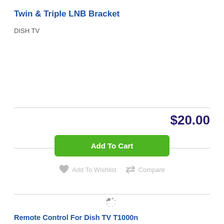Twin & Triple LNB Bracket
DISH TV
$20.00
Add To Cart
Add To Wishlist
Compare
[Figure (other): Loading spinner dots animation]
Remote Control For Dish TV T1000n